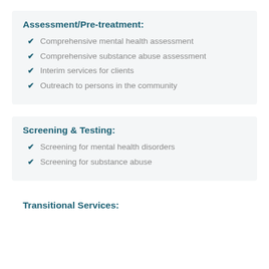Assessment/Pre-treatment:
Comprehensive mental health assessment
Comprehensive substance abuse assessment
Interim services for clients
Outreach to persons in the community
Screening & Testing:
Screening for mental health disorders
Screening for substance abuse
Transitional Services: